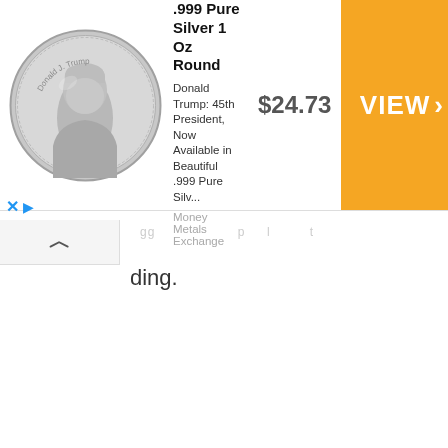[Figure (screenshot): Advertisement banner for a President Trump .999 Pure Silver 1 Oz Round coin from Money Metals Exchange. Shows a silver coin with Trump's portrait on the left, text description and price $24.73 in the center, and an orange VIEW > button on the right.]
ding.